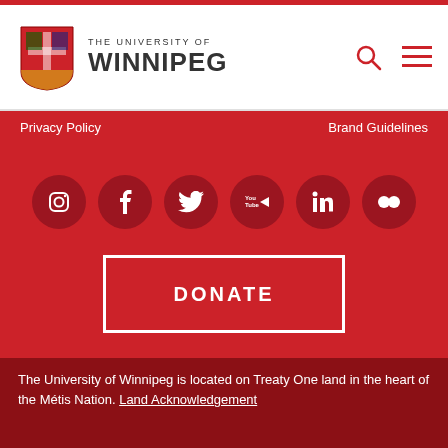THE UNIVERSITY OF WINNIPEG
Privacy Policy
Brand Guidelines
[Figure (infographic): Row of six social media icons on dark red circles: Instagram, Facebook, Twitter, YouTube, LinkedIn, Flickr]
DONATE
The University of Winnipeg is located on Treaty One land in the heart of the Métis Nation. Land Acknowledgement